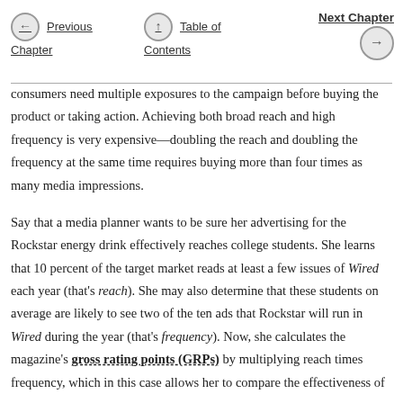Previous Chapter | Table of Contents | Next Chapter
consumers need multiple exposures to the campaign before buying the product or taking action. Achieving both broad reach and high frequency is very expensive—doubling the reach and doubling the frequency at the same time requires buying more than four times as many media impressions.
Say that a media planner wants to be sure her advertising for the Rockstar energy drink effectively reaches college students. She learns that 10 percent of the target market reads at least a few issues of Wired each year (that's reach). She may also determine that these students on average are likely to see two of the ten ads that Rockstar will run in Wired during the year (that's frequency). Now, she calculates the magazine's gross rating points (GRPs) by multiplying reach times frequency, which in this case allows her to compare the effectiveness of